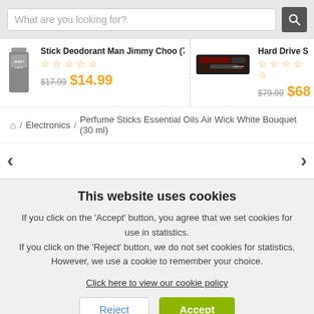What are you looking for?
Stick Deodorant Man Jimmy Choo (75 g) — $17.99 $14.99
Hard Drive Si… — $79.99 $68…
/ Electronics / Perfume Sticks Essential Oils Air Wick White Bouquet (30 ml)
‹   ›
This website uses cookies
If you click on the 'Accept' button, you agree that we set cookies for use in statistics.
If you click on the 'Reject' button, we do not set cookies for statistics.
However, we use a cookie to remember your choice.
Click here to view our cookie policy
Reject
Accept